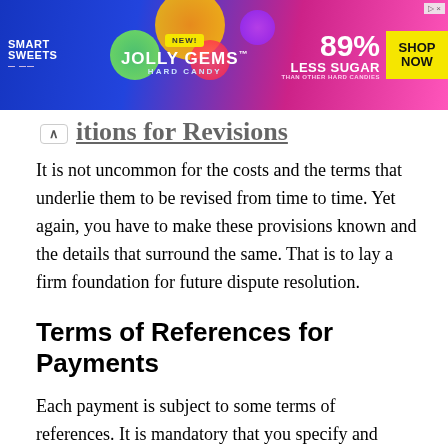[Figure (other): Smart Sweets Jolly Gems Hard Candy advertisement banner. Blue/pink gradient background with candy imagery. Text: NEW! JOLLY GEMS HARD CANDY, 89% LESS SUGAR THAN OTHER HARD CANDIES, SHOP NOW button.]
Criteria for Revisions
It is not uncommon for the costs and the terms that underlie them to be revised from time to time. Yet again, you have to make these provisions known and the details that surround the same. That is to lay a firm foundation for future dispute resolution.
Terms of References for Payments
Each payment is subject to some terms of references. It is mandatory that you specify and make known these terms of references yet again to avoid some doubts that may generally arise in